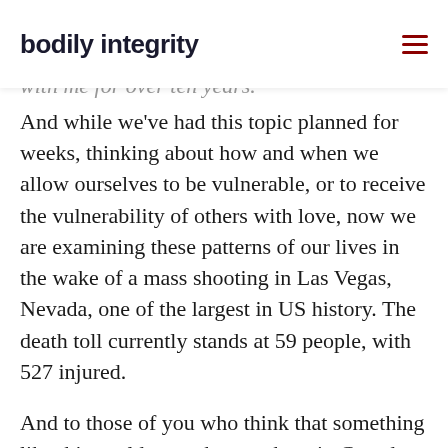bodily integrity
couldn't tell you now what the plot of the story, but this quote has stayed with me for over ten years.
And while we've had this topic planned for weeks, thinking about how and when we allow ourselves to be vulnerable, or to receive the vulnerability of others with love, now we are examining these patterns of our lives in the wake of a mass shooting in Las Vegas, Nevada, one of the largest in US history. The death toll currently stands at 59 people, with 527 injured.
And to those of you who think that something like this could never happen here in Canada — you're wrong. It wouldn't be next week, of course, or even next year, or in five years — laws take time to be changed –but unless we dig deep into the reasons why white men are taught by our embedded systems that this is